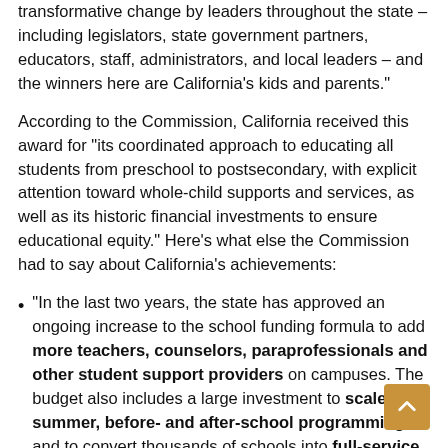transformative change by leaders throughout the state – including legislators, state government partners, educators, staff, administrators, and local leaders – and the winners here are California's kids and parents."
According to the Commission, California received this award for "its coordinated approach to educating all students from preschool to postsecondary, with explicit attention toward whole-child supports and services, as well as its historic financial investments to ensure educational equity." Here's what else the Commission had to say about California's achievements:
"In the last two years, the state has approved an ongoing increase to the school funding formula to add more teachers, counselors, paraprofessionals and other student support providers on campuses. The budget also includes a large investment to scale summer, before- and after-school programming; and to convert thousands of schools into full-service community schools with wraparound supports. Additionally, beginning this school year, all